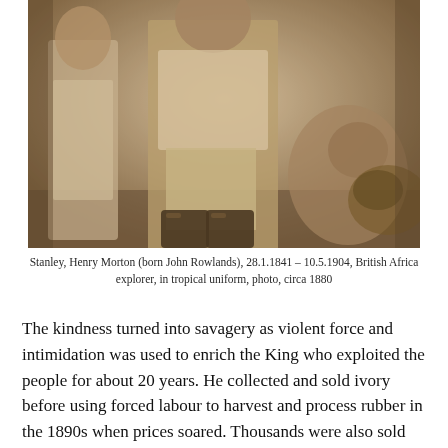[Figure (photo): Historical sepia photograph showing Henry Morton Stanley in tropical uniform, with other figures, circa 1880. The image shows people standing, with boots and period clothing visible.]
Stanley, Henry Morton (born John Rowlands), 28.1.1841 – 10.5.1904, British Africa explorer, in tropical uniform, photo, circa 1880
The kindness turned into savagery as violent force and intimidation was used to enrich the King who exploited the people for about 20 years. He collected and sold ivory before using forced labour to harvest and process rubber in the 1890s when prices soared. Thousands were also sold into slavery, confirmed eyewitness testimonies during an inspection by an international Commission of Inquiry in 1904 led by consul